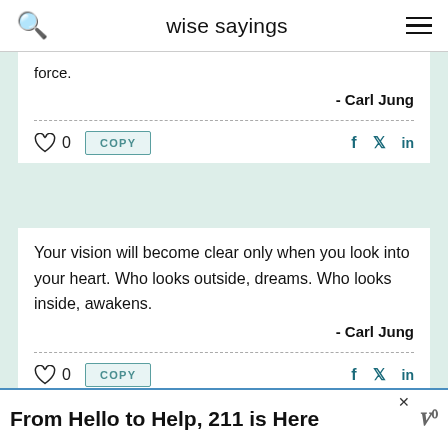wise sayings
force.
- Carl Jung
Your vision will become clear only when you look into your heart. Who looks outside, dreams. Who looks inside, awakens.
- Carl Jung
From Hello to Help, 211 is Here